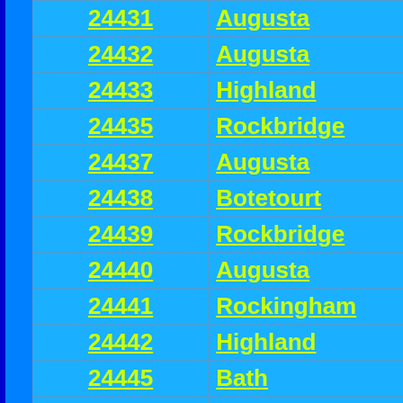| ZIP | County |
| --- | --- |
| 24431 | Augusta |
| 24432 | Augusta |
| 24433 | Highland |
| 24435 | Rockbridge |
| 24437 | Augusta |
| 24438 | Botetourt |
| 24439 | Rockbridge |
| 24440 | Augusta |
| 24441 | Rockingham |
| 24442 | Highland |
| 24445 | Bath |
| 24448 | Alleghany |
| 24450 | Lexington City |
| 24457 | Alleghany |
| 24458 | Highland |
| 24459 | Augusta |
| 24460 | Bath |